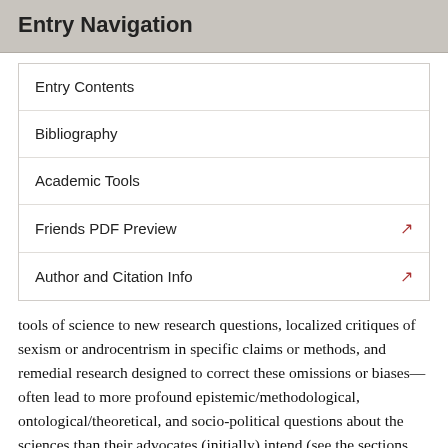Entry Navigation
Entry Contents
Bibliography
Academic Tools
Friends PDF Preview
Author and Citation Info
tools of science to new research questions, localized critiques of sexism or androcentrism in specific claims or methods, and remedial research designed to correct these omissions or biases—often lead to more profound epistemic/methodological, ontological/theoretical, and socio-political questions about the sciences than their advocates (initially) intend (see the sections From Selective Appropriation to Content Critique, The Feminist Method Debate, and Philosophical Implications). Even epistemically conservative critiques expose a depth and pervasiveness of gender bias in our best science as well as